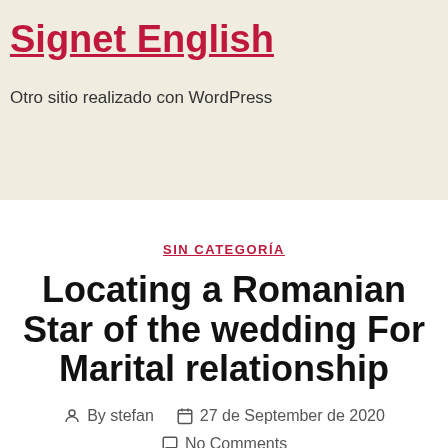Signet English
Otro sitio realizado con WordPress
SIN CATEGORÍA
Locating a Romanian Star of the wedding For Marital relationship
By stefan   27 de September de 2020   No Comments